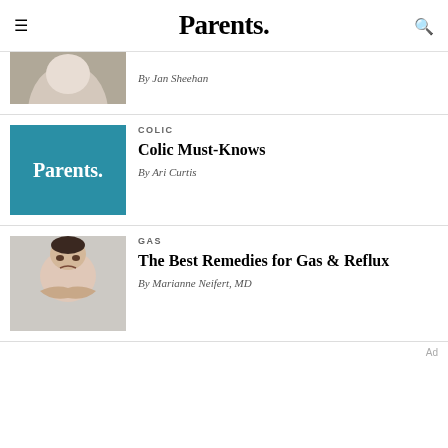Parents.
By Jan Sheehan
[Figure (logo): Parents. logo on teal/blue background]
COLIC
Colic Must-Knows
By Ari Curtis
[Figure (photo): Baby with arms crossed, frowning, on grey background]
GAS
The Best Remedies for Gas & Reflux
By Marianne Neifert, MD
Ad